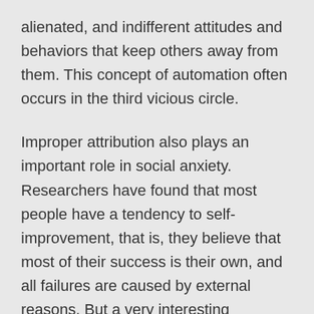alienated, and indifferent attitudes and behaviors that keep others away from them. This concept of automation often occurs in the third vicious circle.
Improper attribution also plays an important role in social anxiety. Researchers have found that most people have a tendency to self-improvement, that is, they believe that most of their success is their own, and all failures are caused by external reasons. But a very interesting phenomenon is that people who are shy and socially anxious show a reverse bias-self-deprecation, that is, they believe that failure is caused by themselves, and all success is brought about by external factors. Therefore, they often think, “This time the exchange went smoothly because the other party was very